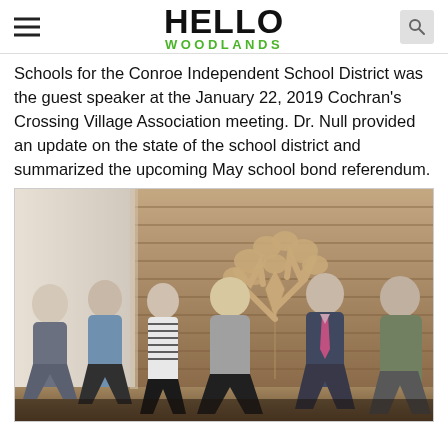HELLO WOODLANDS
Schools for the Conroe Independent School District was the guest speaker at the January 22, 2019 Cochran's Crossing Village Association meeting. Dr. Null provided an update on the state of the school district and summarized the upcoming May school bond referendum.
[Figure (photo): Group photo of six people standing in front of a wooden wall with a decorative tree sculpture. Three women on the left, one woman in center, and two men on the right, all smiling at camera.]